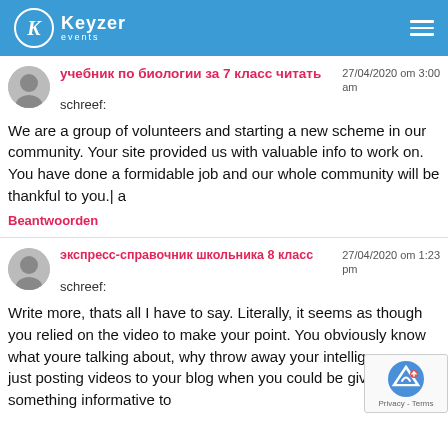Keyzer events
учебник по биологии за 7 класс читать schreef:
27/04/2020 om 3:00 am
We are a group of volunteers and starting a new scheme in our community. Your site provided us with valuable info to work on. You have done a formidable job and our whole community will be thankful to you.| a
Beantwoorden
экспресс-справочник школьника 8 класс schreef:
27/04/2020 om 1:23 pm
Write more, thats all I have to say. Literally, it seems as though you relied on the video to make your point. You obviously know what youre talking about, why throw away your intelligence on just posting videos to your blog when you could be giving us something informative to